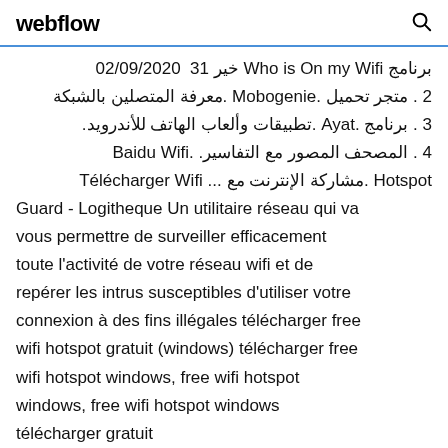webflow
برنامج Who is On my Wifi خير 31 02/09/2020
2 . متجر تحميل .Mobogenie .معرفة المتصلين بالشبكة
3 . برنامج .Ayat .تطبيقات وألعاب الهاتف للأندرويد.
4 . المصحف المصور مع التفاسير. .Baidu Wifi Hotspot مشاركة الإنترنت مع ... Télécharger Wifi Guard - Logitheque Un utilitaire réseau qui va vous permettre de surveiller efficacement toute l'activité de votre réseau wifi et de repérer les intrus susceptibles d'utiliser votre connexion à des fins illégales télécharger free wifi hotspot gratuit (windows) télécharger free wifi hotspot windows, free wifi hotspot windows, free wifi hotspot windows télécharger gratuit